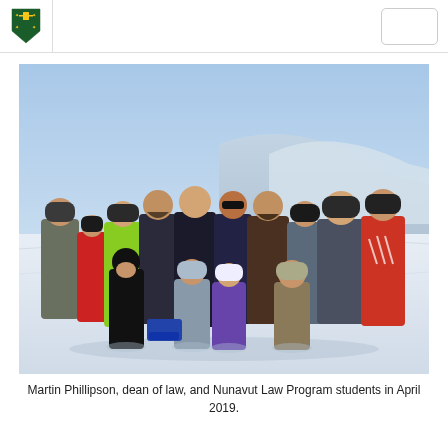University logo and navigation header
[Figure (photo): Group photo of Martin Phillipson, dean of law, and Nunavut Law Program students standing and kneeling in snowy Arctic landscape in April 2019. The group of approximately 15 people are dressed in heavy winter coats and hats.]
Martin Phillipson, dean of law, and Nunavut Law Program students in April 2019.